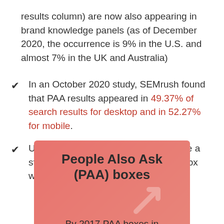results column) are now also appearing in brand knowledge panels (as of December 2020, the occurrence is 9% in the U.S. and almost 7% in the UK and Australia)
In an October 2020 study, SEMrush found that PAA results appeared in 49.37% of search results for desktop and in 52.27% for mobile.
Unlike featured snippets, you can have a standard organic ranking and a PAA box within the same SERP result.
[Figure (infographic): Pink/salmon colored box with title 'People Also Ask (PAA) boxes', a large arrow graphic, and partial text 'By 2017 PAA boxes in']